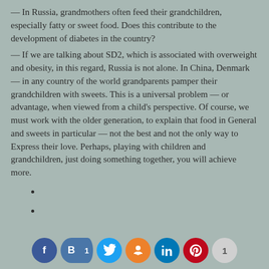— In Russia, grandmothers often feed their grandchildren, especially fatty or sweet food. Does this contribute to the development of diabetes in the country?
— If we are talking about SD2, which is associated with overweight and obesity, in this regard, Russia is not alone. In China, Denmark — in any country of the world grandparents pamper their grandchildren with sweets. This is a universal problem — or advantage, when viewed from a child's perspective. Of course, we must work with the older generation, to explain that food in General and sweets in particular — not the best and not the only way to Express their love. Perhaps, playing with children and grandchildren, just doing something together, you will achieve more.
[Figure (infographic): Social media share icons: Facebook (blue), VKontakte (blue with count 1), Twitter (light blue), Odnoklassniki (orange), LinkedIn (dark blue), Pinterest (red), and a share count badge showing 1]